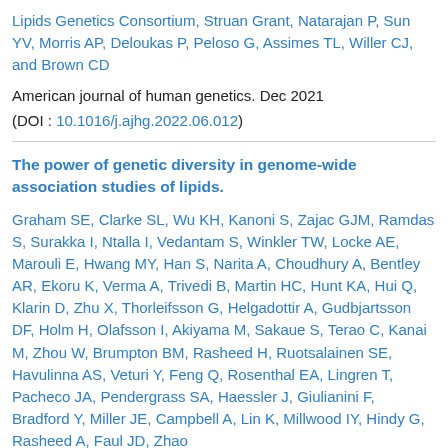Lipids Genetics Consortium, Struan Grant, Natarajan P, Sun YV, Morris AP, Deloukas P, Peloso G, Assimes TL, Willer CJ, and Brown CD
American journal of human genetics. Dec 2021
(DOI : 10.1016/j.ajhg.2022.06.012)
The power of genetic diversity in genome-wide association studies of lipids.
Graham SE, Clarke SL, Wu KH, Kanoni S, Zajac GJM, Ramdas S, Surakka I, Ntalla I, Vedantam S, Winkler TW, Locke AE, Marouli E, Hwang MY, Han S, Narita A, Choudhury A, Bentley AR, Ekoru K, Verma A, Trivedi B, Martin HC, Hunt KA, Hui Q, Klarin D, Zhu X, Thorleifsson G, Helgadottir A, Gudbjartsson DF, Holm H, Olafsson I, Akiyama M, Sakaue S, Terao C, Kanai M, Zhou W, Brumpton BM, Rasheed H, Ruotsalainen SE, Havulinna AS, Veturi Y, Feng Q, Rosenthal EA, Lingren T, Pacheco JA, Pendergrass SA, Haessler J, Giulianini F, Bradford Y, Miller JE, Campbell A, Lin K, Millwood IY, Hindy G, Rasheed A, Faul JD, Zhao